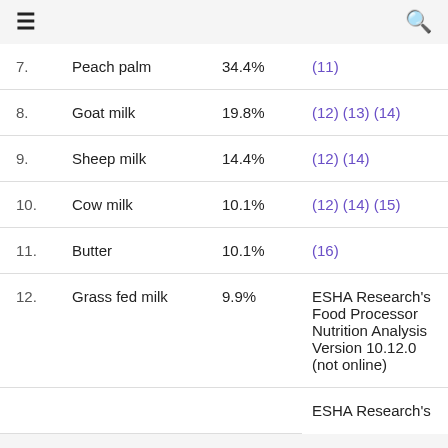☰  🔍
| # | Food | % | References |
| --- | --- | --- | --- |
| 7. | Peach palm | 34.4% | (11) |
| 8. | Goat milk | 19.8% | (12) (13) (14) |
| 9. | Sheep milk | 14.4% | (12) (14) |
| 10. | Cow milk | 10.1% | (12) (14) (15) |
| 11. | Butter | 10.1% | (16) |
| 12. | Grass fed milk | 9.9% | ESHA Research's Food Processor Nutrition Analysis Version 10.12.0 (not online) |
|  |  |  | ESHA Research's |